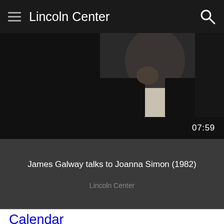Lincoln Center
[Figure (screenshot): Video thumbnail showing a person in dark clothing, partially visible, dark background.]
07:59
James Galway talks to Joanna Simon (1982)
Lincoln Center
Calendar
Visit